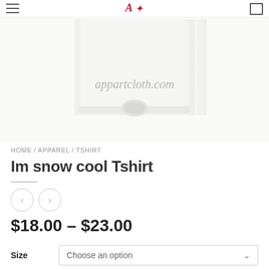apparcloth.com
[Figure (photo): White t-shirt product photo showing bottom hem and label tag, with watermark text 'appartcloth.com' overlaid]
HOME / APPAREL / TSHIRT
Im snow cool Tshirt
$18.00 – $23.00
Size  Choose an option